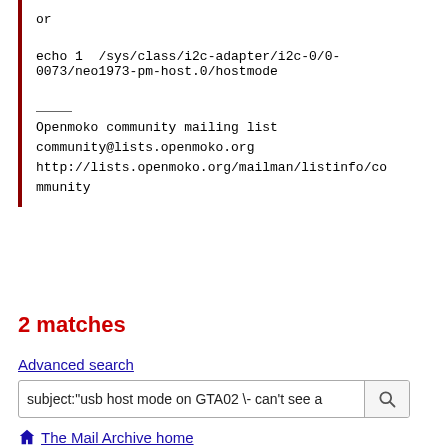or
echo 1  /sys/class/i2c-adapter/i2c-0/0-0073/neo1973-pm-host.0/hostmode
Openmoko community mailing list
community@lists.openmoko.org
http://lists.openmoko.org/mailman/listinfo/community
2 matches
Advanced search
subject:"usb host mode on GTA02 \- can't see a
The Mail Archive home